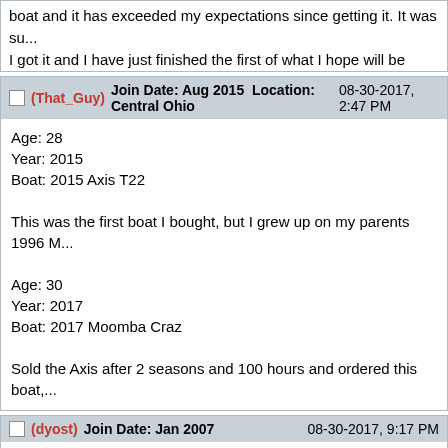...Maliquet and how I own a boat that is basically the equivalent of a... boat and it has exceeded my expectations since getting it. It was su... I got it and I have just finished the first of what I hope will be many s...
(That_Guy) Join Date: Aug 2015 Location: Central Ohio 08-30-2017, 2:47 PM
Age: 28
Year: 2015
Boat: 2015 Axis T22

This was the first boat I bought, but I grew up on my parents 1996 M...

Age: 30
Year: 2017
Boat: 2017 Moomba Craz

Sold the Axis after 2 seasons and 100 hours and ordered this boat,...
(dyost) Join Date: Jan 2007 08-30-2017, 9:17 PM
Age: 34
Year: 2015
Boat: 1989 Supra Sunsport

Still running strong after almost three seasons
(jhartt3) Join Date: Jan 2012 08-31-2017, 11:04 AM
age - 24
Year - 2011
Boat: 1988 Hydroless Grand...